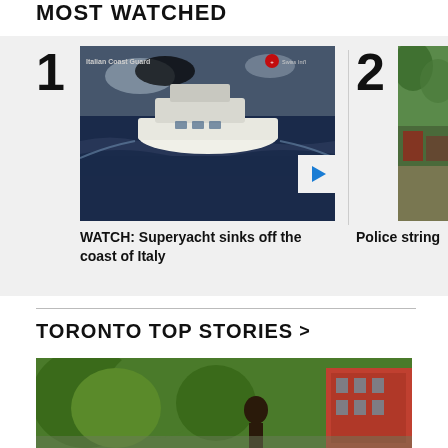MOST WATCHED
[Figure (photo): Ranked #1 video thumbnail: Superyacht sinking off the coast of Italy, viewed from above, on dark water. Italian Coast Guard watermark visible. Play button overlay in bottom right corner.]
WATCH: Superyacht sinks off the coast of Italy
[Figure (photo): Ranked #2 video thumbnail (partially visible): Outdoor scene with trees, vehicles visible in background.]
Police string
TORONTO TOP STORIES >
[Figure (photo): Toronto Top Stories section lead image: Person standing outdoors near trees, with a red brick building visible on the right side.]